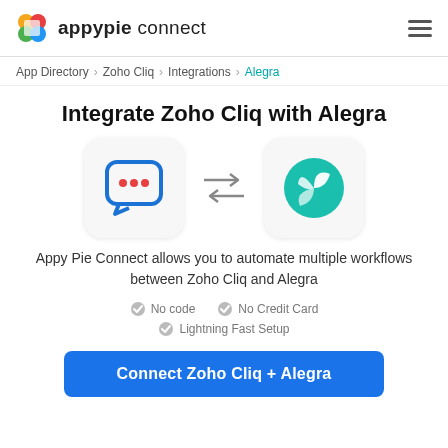appypie connect
App Directory > Zoho Cliq > Integrations > Alegra
Integrate Zoho Cliq with Alegra
[Figure (illustration): Zoho Cliq chat bubble icon and Alegra teal logo with bidirectional arrows between them]
Appy Pie Connect allows you to automate multiple workflows between Zoho Cliq and Alegra
No code
No Credit Card
Lightning Fast Setup
Connect Zoho Cliq + Alegra